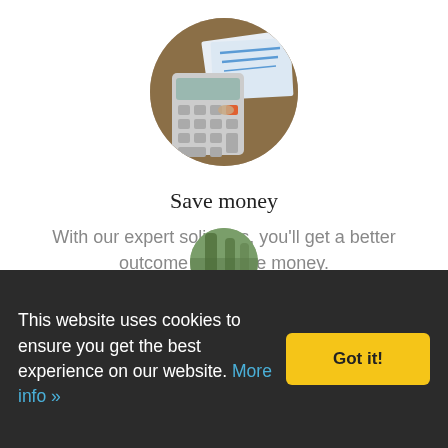[Figure (photo): Circular cropped photo of a person using a calculator with financial documents on a wooden desk]
Save money
With our expert solicitors, you'll get a better outcome and save money.
[Figure (photo): Circular cropped photo partially visible at the bottom of the page, showing outdoor/nature scene]
This website uses cookies to ensure you get the best experience on our website. More info »
Got it!